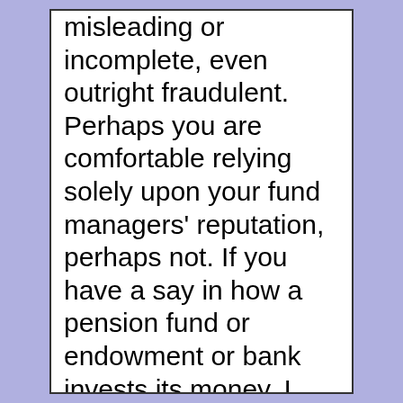misleading or incomplete, even outright fraudulent. Perhaps you are comfortable relying solely upon your fund managers' reputation, perhaps not. If you have a say in how a pension fund or endowment or bank invests its money, I can't imagine why you'd permit investment in any sort of securitization while you have no meaningful assurance that what is being sold to you is